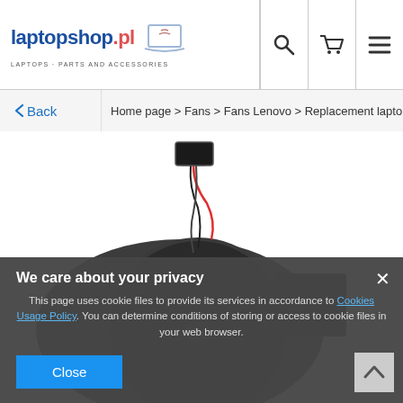laptopshop.pl — LAPTOPS · PARTS AND ACCESSORIES
< Back  Home page > Fans > Fans Lenovo > Replacement lapto
[Figure (photo): Laptop replacement fan/cooling unit (blower fan) with red and black wire connector, viewed from above against a white background, shown partially obscured by a cookie consent overlay.]
We care about your privacy
This page uses cookie files to provide its services in accordance to Cookies Usage Policy. You can determine conditions of storing or access to cookie files in your web browser.
Close